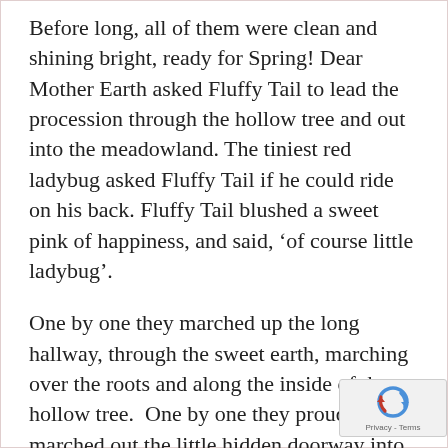Before long, all of them were clean and shining bright, ready for Spring! Dear Mother Earth asked Fluffy Tail to lead the procession through the hollow tree and out into the meadowland. The tiniest red ladybug asked Fluffy Tail if he could ride on his back. Fluffy Tail blushed a sweet pink of happiness, and said, ‘of course little ladybug’.
One by one they marched up the long hallway, through the sweet earth, marching over the roots and along the inside of the hollow tree.  One by one they proudly marched out the little hidden doorway into Spring.
Fluffy Tail led them all, hippity hop, thumpity thump, wiggling his tail all the way. Once they reached the spring meadow, the little ladybug up and all around singing ‘hurray for Spring!’ How...
[Figure (other): reCAPTCHA badge with blue circular arrow icon and Privacy - Terms text]